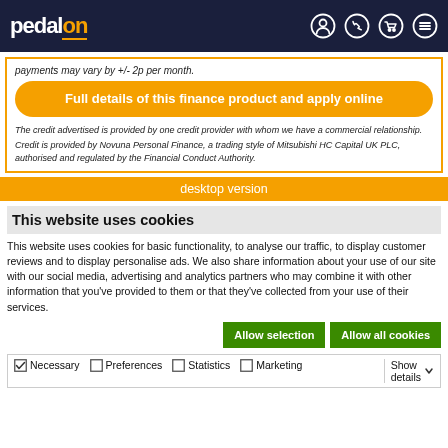pedalon
payments may vary by +/- 2p per month.
Full details of this finance product and apply online
The credit advertised is provided by one credit provider with whom we have a commercial relationship.
Credit is provided by Novuna Personal Finance, a trading style of Mitsubishi HC Capital UK PLC, authorised and regulated by the Financial Conduct Authority.
desktop version
This website uses cookies
This website uses cookies for basic functionality, to analyse our traffic, to display customer reviews and to display personalise ads. We also share information about your use of our site with our social media, advertising and analytics partners who may combine it with other information that you've provided to them or that they've collected from your use of their services.
Allow selection | Allow all cookies
Necessary | Preferences | Statistics | Marketing | Show details